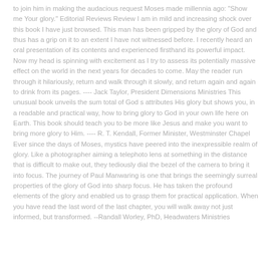to join him in making the audacious request Moses made millennia ago: "Show me Your glory." Editorial Reviews Review I am in mild and increasing shock over this book I have just browsed. This man has been gripped by the glory of God and thus has a grip on it to an extent I have not witnessed before. I recently heard an oral presentation of its contents and experienced firsthand its powerful impact. Now my head is spinning with excitement as I try to assess its potentially massive effect on the world in the next years for decades to come. May the reader run through it hilariously, return and walk through it slowly, and return again and again to drink from its pages. ---- Jack Taylor, President Dimensions Ministries This unusual book unveils the sum total of God s attributes His glory but shows you, in a readable and practical way, how to bring glory to God in your own life here on Earth. This book should teach you to be more like Jesus and make you want to bring more glory to Him. ---- R. T. Kendall, Former Minister, Westminster Chapel Ever since the days of Moses, mystics have peered into the inexpressible realm of glory. Like a photographer aiming a telephoto lens at something in the distance that is difficult to make out, they tediously dial the bezel of the camera to bring it into focus. The journey of Paul Manwaring is one that brings the seemingly surreal properties of the glory of God into sharp focus. He has taken the profound elements of the glory and enabled us to grasp them for practical application. When you have read the last word of the last chapter, you will walk away not just informed, but transformed. --Randall Worley, PhD, Headwaters Ministries